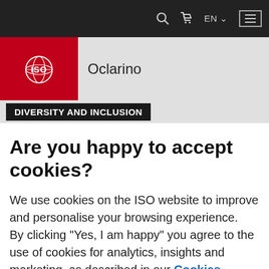ISO navigation bar with search, cart, EN language selector, and menu button
[Figure (logo): ISO logo (red box with white ISO text and globe icon) followed by text 'Oclarino']
DIVERSITY AND INCLUSION
Are you happy to accept cookies?
We use cookies on the ISO website to improve and personalise your browsing experience.
By clicking "Yes, I am happy" you agree to the use of cookies for analytics, insights and marketing, as described in our Cookies Policy. To reject cookies or manage your cookie preferences click